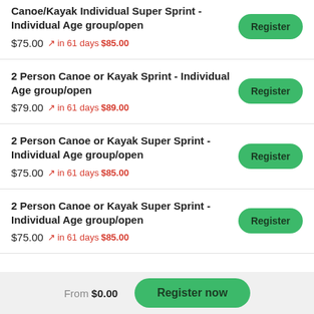Canoe/Kayak Individual Super Sprint - Individual Age group/open
$75.00  in 61 days $85.00
2 Person Canoe or Kayak Sprint - Individual Age group/open
$79.00  in 61 days $89.00
2 Person Canoe or Kayak Super Sprint - Individual Age group/open
$75.00  in 61 days $85.00
2 Person Canoe or Kayak Super Sprint - Individual Age group/open
$75.00  in 61 days $85.00
From $0.00
Register now